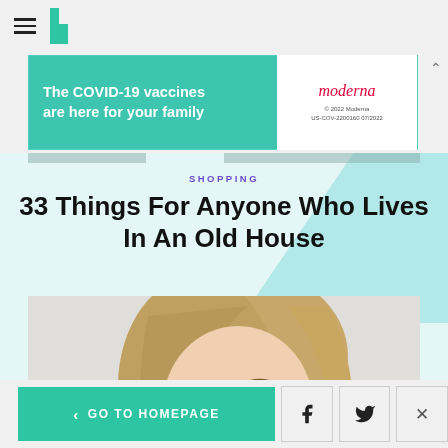HuffPost navigation — hamburger menu and logo
[Figure (screenshot): Advertisement banner: 'The COVID-19 vaccines are here for your family' with Moderna logo, © 2022 Moderna, US-COV-2200160 07/2022]
SHOPPING
33 Things For Anyone Who Lives In An Old House
[Figure (photo): Woman with eyes closed drinking from a clear glass of white liquid (milk or water), holding glass with both hands, wearing a light-colored top, background is soft white/grey]
GO TO HOMEPAGE | Facebook share | Twitter share | Close